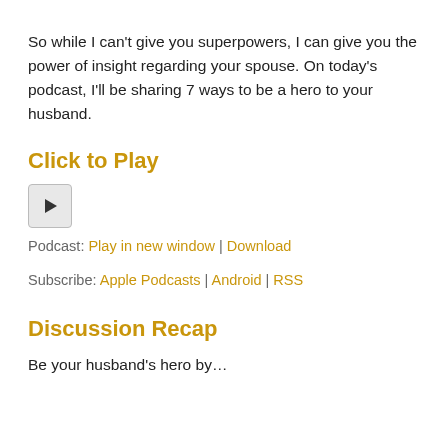So while I can't give you superpowers, I can give you the power of insight regarding your spouse. On today's podcast, I'll be sharing 7 ways to be a hero to your husband.
Click to Play
[Figure (other): Audio play button icon]
Podcast: Play in new window | Download
Subscribe: Apple Podcasts | Android | RSS
Discussion Recap
Be your husband's hero by…